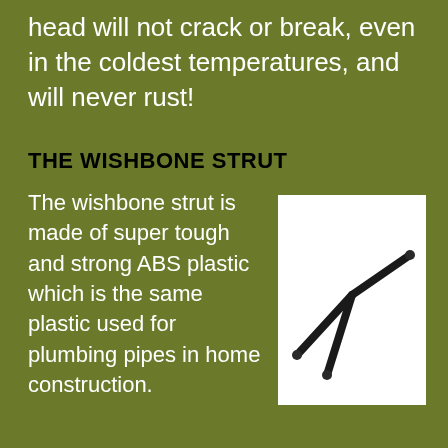head will not crack or break, even in the coldest temperatures, and will never rust!
THE WISHBONE STRUT
The wishbone strut is made of super tough and strong ABS plastic which is the same plastic used for plumbing pipes in home construction.
[Figure (photo): A black Y-shaped wishbone strut made of ABS plastic, shown on a white background at an angle.]